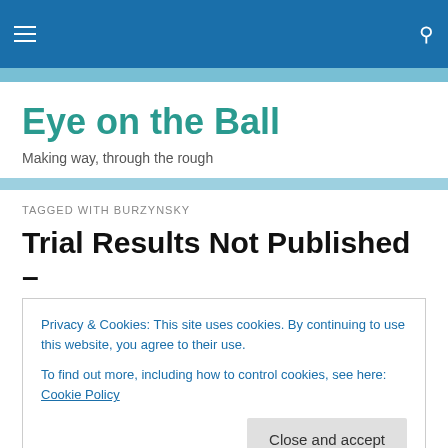Eye on the Ball — navigation bar
Eye on the Ball
Making way, through the rough
TAGGED WITH BURZYNSKY
Trial Results Not Published – Dr. Burzvnskv
Privacy & Cookies: This site uses cookies. By continuing to use this website, you agree to their use.
To find out more, including how to control cookies, see here: Cookie Policy
Close and accept
Government, the Pharmaceutical Industry or The Cancer